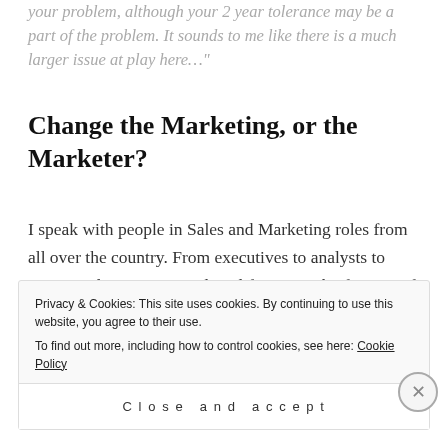your problem, although your 2 year tolerance may be a part of the problem. It sounds to me like there is a much larger issue at play here…"
Change the Marketing, or the Marketer?
I speak with people in Sales and Marketing roles from all over the country. From executives to analysts to reps. Lead generation and qualification is by far, one of the most common frustrations I hear.
Privacy & Cookies: This site uses cookies. By continuing to use this website, you agree to their use.
To find out more, including how to control cookies, see here: Cookie Policy
Close and accept